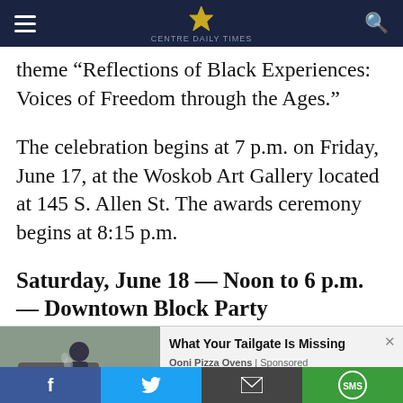[Navigation bar with hamburger menu, logo/eagle icon, and search icon]
theme “Reflections of Black Experiences: Voices of Freedom through the Ages.”
The celebration begins at 7 p.m. on Friday, June 17, at the Woskob Art Gallery located at 145 S. Allen St. The awards ceremony begins at 8:15 p.m.
Saturday, June 18 — Noon to 6 p.m. — Downtown Block Party
Saturday’s block party will take place on Fraser St.
[Figure (infographic): Sponsored advertisement banner: photo of man with smoker grill, title 'What Your Tailgate Is Missing', source 'Ooni Pizza Ovens | Sponsored', close button (x)]
[Figure (infographic): Social sharing bar with Facebook (blue), Twitter (light blue), Email (dark gray), and SMS (green) buttons]